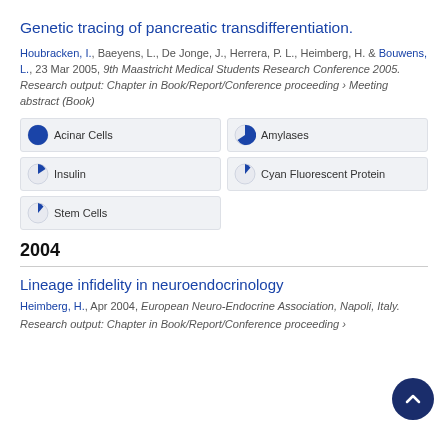Genetic tracing of pancreatic transdifferentiation.
Houbracken, I., Baeyens, L., De Jonge, J., Herrera, P. L., Heimberg, H. & Bouwens, L., 23 Mar 2005, 9th Maastricht Medical Students Research Conference 2005.
Research output: Chapter in Book/Report/Conference proceeding › Meeting abstract (Book)
Acinar Cells | Amylases | Insulin | Cyan Fluorescent Protein | Stem Cells
2004
Lineage infidelity in neuroendocrinology
Heimberg, H., Apr 2004, European Neuro-Endocrine Association, Napoli, Italy.
Research output: Chapter in Book/Report/Conference proceeding ›